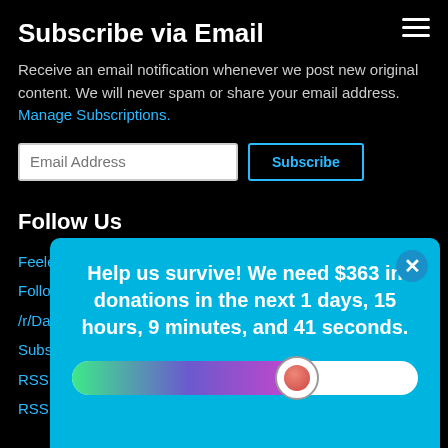Subscribe via Email
Receive an email notification whenever we post new original content. We will never spam or share your email address. Manage Subscriptions.
Follow Us
Feelers Online
Follow us on Twitter
/r/DamnInteresting subreddit
Subst...
RSS:
RSS:
[Figure (infographic): Blue popup overlay with donation countdown message and progress bar. Text: Help us survive! We need $363 in donations in the next 1 days, 15 hours, 9 minutes, and 41 seconds. Progress bar from green to purple gradient with white remainder.]